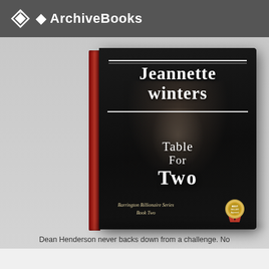ArchiveBooks
[Figure (illustration): 3D rendered book cover of 'Table For Two' by Jeannette Winters, Barrington Billionaire Series Book Two. Black cover with a man in a suit, white shirt. Red spine. Gold award medal badge on cover.]
Dean Henderson never backs down from a challenge. No